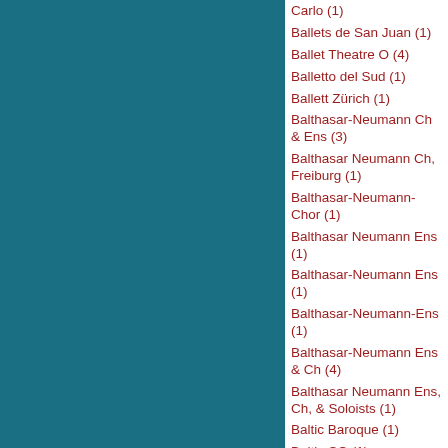Carlo (1)
Ballets de San Juan (1)
Ballet Theatre O (4)
Balletto del Sud (1)
Ballett Zürich (1)
Balthasar-Neumann Ch & Ens (3)
Balthasar Neumann Ch, Freiburg (1)
Balthasar-Neumann-Chor (1)
Balthasar Neumann Ens (1)
Balthasar-Neumann Ens (1)
Balthasar-Neumann-Ens (1)
Balthasar-Neumann Ens & Ch (4)
Balthasar Neumann Ens, Ch, & Soloists (1)
Baltic Baroque (1)
Baltic CO (1)